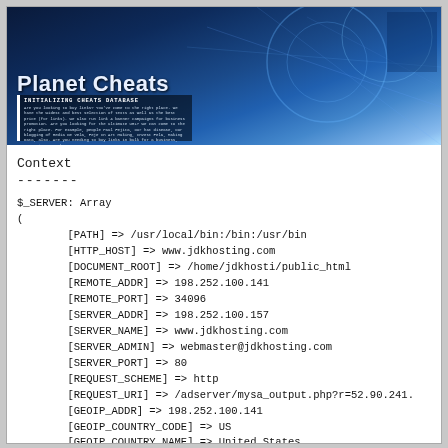[Figure (screenshot): Planet Cheats website banner with blue digital/tech background, showing 'Planet Cheats' title and 'INITIALIZING CHEATS DATABASE' section with text.]
Context
-------
$_SERVER: Array
(
    [PATH] => /usr/local/bin:/bin:/usr/bin
    [HTTP_HOST] => www.jdkhosting.com
    [DOCUMENT_ROOT] => /home/jdkhosti/public_html
    [REMOTE_ADDR] => 198.252.100.141
    [REMOTE_PORT] => 34096
    [SERVER_ADDR] => 198.252.100.157
    [SERVER_NAME] => www.jdkhosting.com
    [SERVER_ADMIN] => webmaster@jdkhosting.com
    [SERVER_PORT] => 80
    [REQUEST_SCHEME] => http
    [REQUEST_URI] => /adserver/mysa_output.php?r=52.90.241.
    [GEOIP_ADDR] => 198.252.100.141
    [GEOIP_COUNTRY_CODE] => US
    [GEOIP_COUNTRY_NAME] => United States